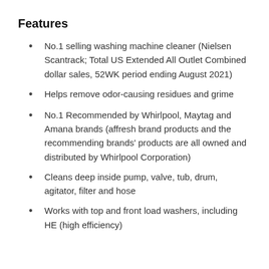Features
No.1 selling washing machine cleaner (Nielsen Scantrack; Total US Extended All Outlet Combined dollar sales, 52WK period ending August 2021)
Helps remove odor-causing residues and grime
No.1 Recommended by Whirlpool, Maytag and Amana brands (affresh brand products and the recommending brands' products are all owned and distributed by Whirlpool Corporation)
Cleans deep inside pump, valve, tub, drum, agitator, filter and hose
Works with top and front load washers, including HE (high efficiency)